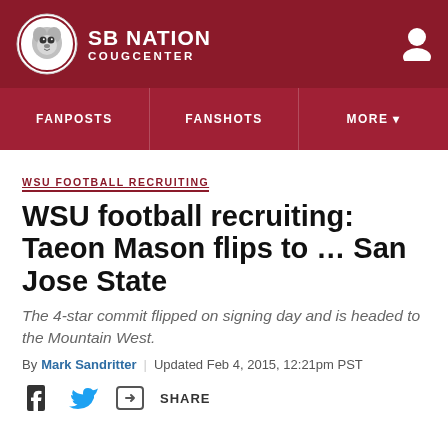SB NATION COUGCENTER
FANPOSTS | FANSHOTS | MORE
WSU FOOTBALL RECRUITING
WSU football recruiting: Taeon Mason flips to … San Jose State
The 4-star commit flipped on signing day and is headed to the Mountain West.
By Mark Sandritter | Updated Feb 4, 2015, 12:21pm PST
SHARE